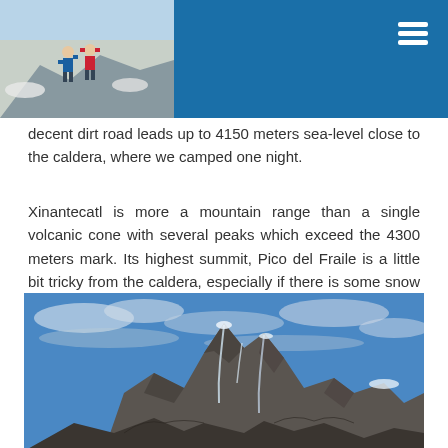[Figure (photo): Header with photo of two people with raised arms on a snowy mountain summit on the left, and blue navigation bar with hamburger menu icon on the right]
decent dirt road leads up to 4150 meters sea-level close to the caldera, where we camped one night.
Xinantecatl is more a mountain range than a single volcanic cone with several peaks which exceed the 4300 meters mark. Its highest summit, Pico del Fraile is a little bit tricky from the caldera, especially if there is some snow and ice.
[Figure (photo): Rocky jagged mountain peaks with snow and ice against a blue cloudy sky — likely Pico del Fraile on Xinantecatl volcano]